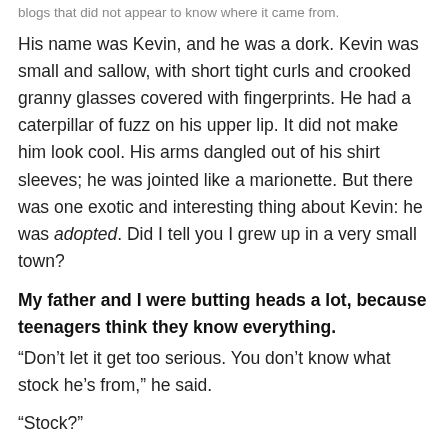blogs that did not appear to know where it came from.
His name was Kevin, and he was a dork. Kevin was small and sallow, with short tight curls and crooked granny glasses covered with fingerprints. He had a caterpillar of fuzz on his upper lip. It did not make him look cool. His arms dangled out of his shirt sleeves; he was jointed like a marionette. But there was one exotic and interesting thing about Kevin: he was adopted. Did I tell you I grew up in a very small town?
My father and I were butting heads a lot, because teenagers think they know everything.
“Don’t let it get too serious. You don’t know what stock he’s from,” he said.
“Stock?”
“He’s light-skinned, but you just don’t know.”